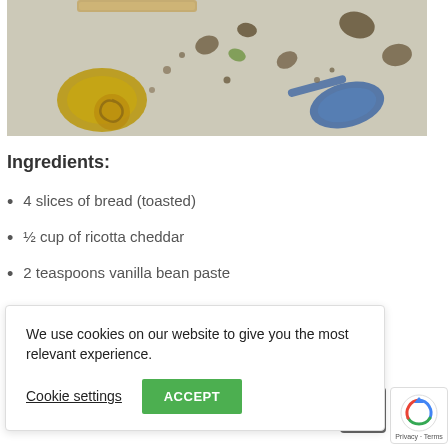[Figure (photo): Top-down food photography on a light grey surface showing nuts, seeds, a small blue measuring spoon, and a golden pool of oil or honey with a spiral biscuit/cookie]
Ingredients:
4 slices of bread (toasted)
½ cup of ricotta cheddar
2 teaspoons vanilla bean paste
We use cookies on our website to give you the most relevant experience.

Cookie settings   ACCEPT